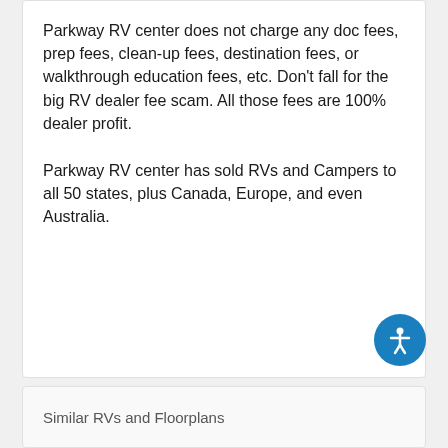Parkway RV center does not charge any doc fees, prep fees, clean-up fees, destination fees, or walkthrough education fees, etc. Don't fall for the big RV dealer fee scam. All those fees are 100% dealer profit.
Parkway RV center has sold RVs and Campers to all 50 states, plus Canada, Europe, and even Australia.
So you are never too far away for us to save you money on a New or Pre-owned RV!!
Similar RVs and Floorplans